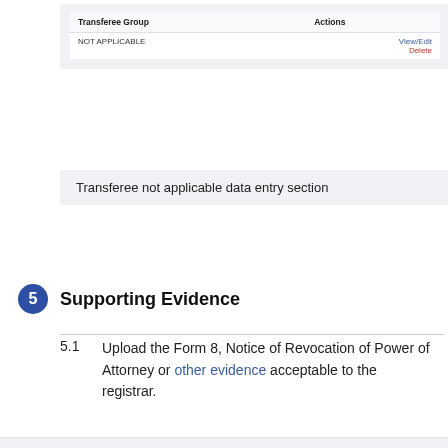[Figure (screenshot): UI table showing Transferee Group column with 'NOT APPLICABLE' row and Actions column with 'View/Edit' and 'Delete' links]
Transferee not applicable data entry section
back to top of Revocation of Power of Attorney
5   Supporting Evidence
5.1   Upload the Form 8, Notice of Revocation of Power of Attorney or other evidence acceptable to the registrar.